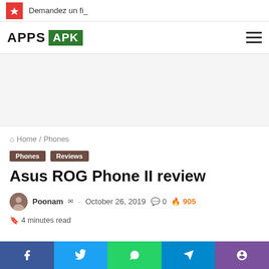Demandez un fi_
[Figure (logo): APPS APK logo with green APK badge and hamburger menu]
[Figure (other): Advertisement space placeholder]
Home / Phones
Phones  Reviews
Asus ROG Phone II review
Poonam · October 26, 2019  0  905  4 minutes read
[Figure (other): Social share bar: Facebook, Twitter, WhatsApp, Telegram, Viber]